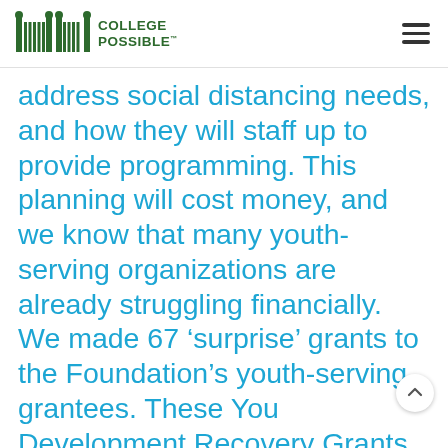College Possible
address social distancing needs, and how they will staff up to provide programming. This planning will cost money, and we know that many youth-serving organizations are already struggling financially. We made 67 ‘surprise’ grants to the Foundation’s youth-serving grantees. These You Development Recovery Grants